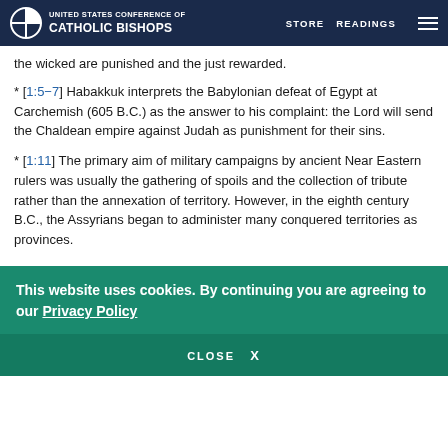UNITED STATES CONFERENCE OF CATHOLIC BISHOPS | STORE | READINGS
the wicked are punished and the just rewarded.
* [1:5-7] Habakkuk interprets the Babylonian defeat of Egypt at Carchemish (605 B.C.) as the answer to his complaint: the Lord will send the Chaldean empire against Judah as punishment for their sins.
* [1:11] The primary aim of military campaigns by ancient Near Eastern rulers was usually the gathering of spoils and the collection of tribute rather than the annexation of territory. However, in the eighth century B.C., the Assyrians began to administer many conquered territories as provinces.
This website uses cookies. By continuing you are agreeing to our Privacy Policy
CLOSE X